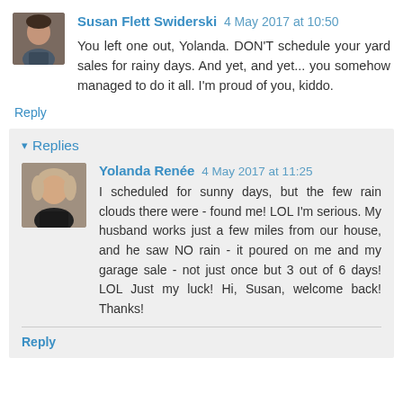Susan Flett Swiderski 4 May 2017 at 10:50
You left one out, Yolanda. DON'T schedule your yard sales for rainy days. And yet, and yet... you somehow managed to do it all. I'm proud of you, kiddo.
Reply
Replies
Yolanda Renée 4 May 2017 at 11:25
I scheduled for sunny days, but the few rain clouds there were - found me! LOL I'm serious. My husband works just a few miles from our house, and he saw NO rain - it poured on me and my garage sale - not just once but 3 out of 6 days! LOL Just my luck! Hi, Susan, welcome back! Thanks!
Reply